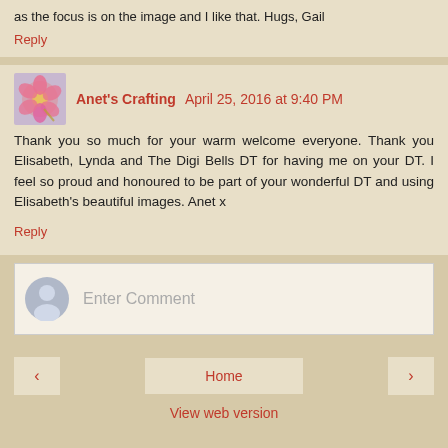as the focus is on the image and I like that. Hugs, Gail
Reply
Anet's Crafting April 25, 2016 at 9:40 PM
Thank you so much for your warm welcome everyone. Thank you Elisabeth, Lynda and The Digi Bells DT for having me on your DT. I feel so proud and honoured to be part of your wonderful DT and using Elisabeth's beautiful images. Anet x
Reply
Enter Comment
Home
View web version